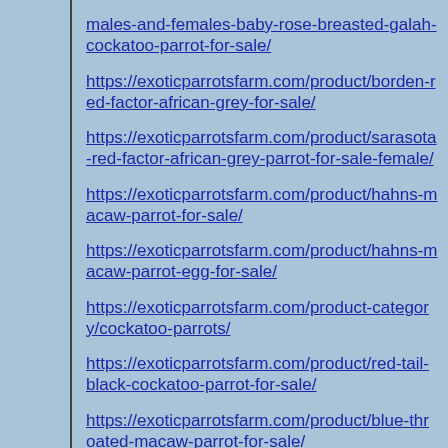https://exoticparrotsfarm.com/product/males-and-females-baby-rose-breasted-galah-cockatoo-parrot-for-sale/
https://exoticparrotsfarm.com/product/borden-red-factor-african-grey-for-sale/
https://exoticparrotsfarm.com/product/sarasota-red-factor-african-grey-parrot-for-sale-female/
https://exoticparrotsfarm.com/product/hahns-macaw-parrot-for-sale/
https://exoticparrotsfarm.com/product/hahns-macaw-parrot-egg-for-sale/
https://exoticparrotsfarm.com/product-category/cockatoo-parrots/
https://exoticparrotsfarm.com/product/red-tail-black-cockatoo-parrot-for-sale/
https://exoticparrotsfarm.com/product/blue-throated-macaw-parrot-for-sale/
https://exoticparrotsfarm.com/product/sarasota-red-factor-african-grey-parrot-for-sale-female/